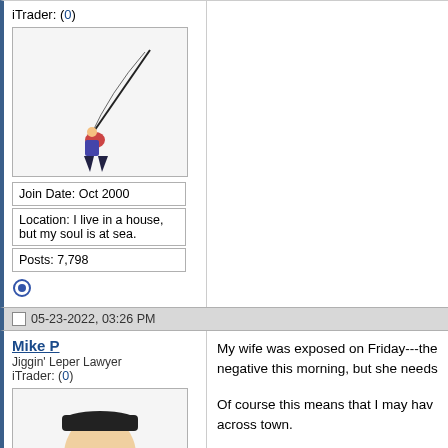iTrader: (0)
[Figure (illustration): Cartoon of a person fishing with a bent rod]
Join Date: Oct 2000
Location: I live in a house, but my soul is at sea.
Posts: 7,798
05-23-2022, 03:26 PM
Mike P
Jiggin' Leper Lawyer
iTrader: (0)
[Figure (illustration): Avatar of a bearded man with sunglasses wearing a cap]
My wife was exposed on Friday---the negative this morning, but she needs
Of course this means that I may hav across town.
Join Date: Oct 2000